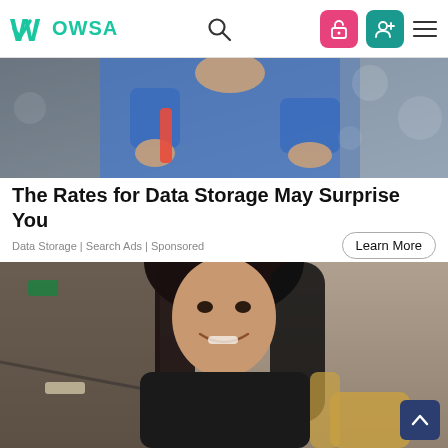Wowsa
[Figure (photo): Worker in blue uniform, industrial setting, top portion cropped]
The Rates for Data Storage May Surprise You
Data Storage | Search Ads | Sponsored
Learn More
[Figure (photo): Smiling woman with dark hair sitting in a chair, indoor setting]